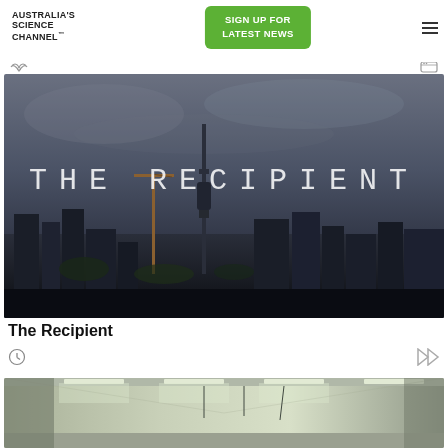AUSTRALIA'S SCIENCE CHANNEL™
[Figure (screenshot): Green 'SIGN UP FOR LATEST NEWS' button in the page header]
[Figure (photo): Film title card 'THE RECIPIENT' overlaid on a moody aerial cityscape with a tall tower and skyline visible under cloudy skies]
The Recipient
[Figure (photo): Interior of a laboratory or workshop space with fluorescent ceiling lights and equipment visible]